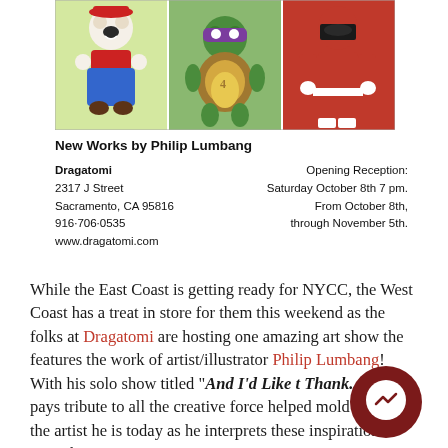[Figure (illustration): Three cartoon character artworks side by side: a bear dressed as Mario, a green ninja turtle in purple mask, and a red Power Ranger]
New Works by Philip Lumbang
Dragatomi
2317 J Street
Sacramento, CA 95816
916-706-0535
www.dragatomi.com
Opening Reception:
Saturday October 8th 7 pm.
From October 8th,
through November 5th.
While the East Coast is getting ready for NYCC, the West Coast has a treat in store for them this weekend as the folks at Dragatomi are hosting one amazing art show the features the work of artist/illustrator Philip Lumbang! With his solo show titled "And I'd Like t Thank..." he pays tribute to all the creative force helped mold him into the artist he is today as he interprets these inspirations using his iconic